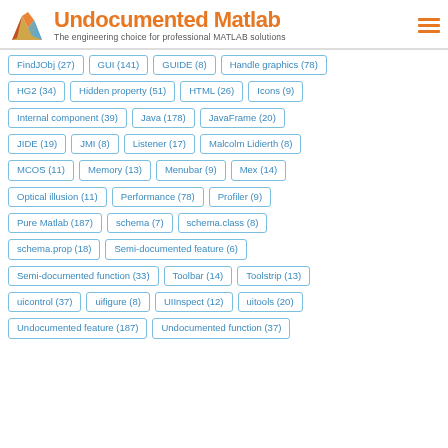[Figure (logo): Undocumented Matlab logo with MATLAB icon and tagline 'The engineering choice for professional MATLAB solutions']
FindJObj (27)
GUI (141)
GUIDE (8)
Handle graphics (78)
HG2 (34)
Hidden property (51)
HTML (26)
Icons (9)
Internal component (39)
Java (178)
JavaFrame (20)
JIDE (19)
JMI (8)
Listener (17)
Malcolm Lidierth (8)
MCOS (11)
Memory (13)
Menubar (9)
Mex (14)
Optical illusion (11)
Performance (78)
Profiler (9)
Pure Matlab (187)
schema (7)
schema.class (8)
schema.prop (18)
Semi-documented feature (6)
Semi-documented function (33)
Toolbar (14)
Toolstrip (13)
uicontrol (37)
uifigure (8)
UIInspect (12)
uitools (20)
Undocumented feature (187)
Undocumented function (37)